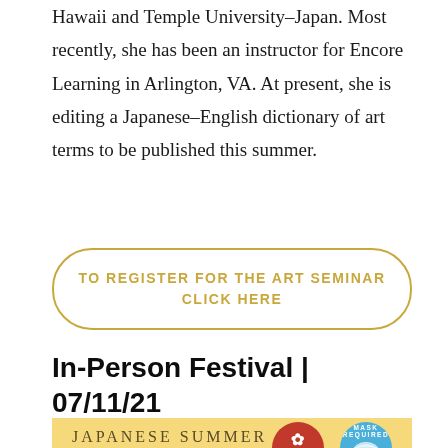Hawaii and Temple University–Japan. Most recently, she has been an instructor for Encore Learning in Arlington, VA. At present, she is editing a Japanese–English dictionary of art terms to be published this summer.
TO REGISTER FOR THE ART SEMINAR CLICK HERE
In-Person Festival | 07/11/21 (2pm-4pm EDT)
[Figure (illustration): Japanese Summer Tanabata festival banner with yellow background, SJA red circular badge, and blue mask required circular badge.]